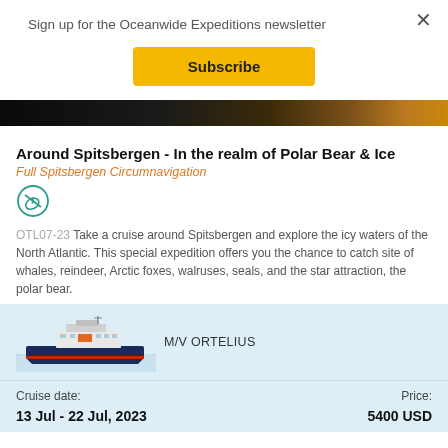Sign up for the Oceanwide Expeditions newsletter
Subscribe
[Figure (photo): Dark hero banner image strip showing night sky with light on right side]
Around Spitsbergen - In the realm of Polar Bear & Ice
Full Spitsbergen Circumnavigation
[Figure (illustration): Circular icon with a crossed-out satellite/signal symbol in teal/green color]
OTL07-23 Take a cruise around Spitsbergen and explore the icy waters of the North Atlantic. This special expedition offers you the chance to catch site of whales, reindeer, Arctic foxes, walruses, seals, and the star attraction, the polar bear.
[Figure (illustration): Illustration of the M/V Ortelius ship on blue wavy water]
M/V ORTELIUS
Cruise date:
Price:
13 Jul - 22 Jul, 2023
5400 USD